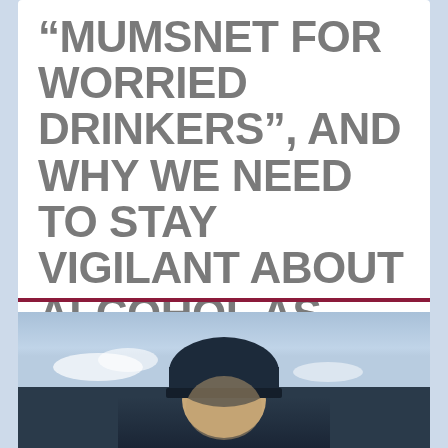“MUMSNET FOR WORRIED DRINKERS”, AND WHY WE NEED TO STAY VIGILANT ABOUT ALCOHOL AS EMOTIONAL MEDICINE
[Figure (photo): Photo of a person wearing a dark navy beanie hat, outdoors with a blue sky background. The person appears to be middle-aged, photographed from roughly chest-up.]